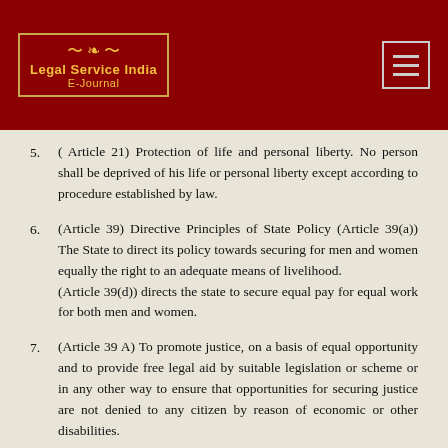[Figure (logo): Legal Service India E-Journal logo with gold border and text on dark red background]
5. ( Article 21) Protection of life and personal liberty. No person shall be deprived of his life or personal liberty except according to procedure established by law.
6. (Article 39) Directive Principles of State Policy (Article 39(a)) The State to direct its policy towards securing for men and women equally the right to an adequate means of livelihood. (Article 39(d)) directs the state to secure equal pay for equal work for both men and women.
7. (Article 39 A) To promote justice, on a basis of equal opportunity and to provide free legal aid by suitable legislation or scheme or in any other way to ensure that opportunities for securing justice are not denied to any citizen by reason of economic or other disabilities.